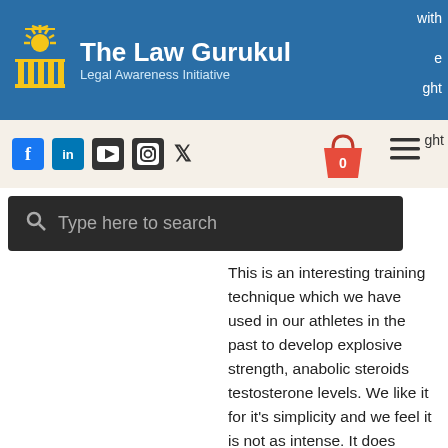The Law Gurukul | Legal Awareness Initiative
[Figure (screenshot): Website header with logo, title 'The Law Gurukul', subtitle 'Legal Awareness Initiative', social media icons, cart, hamburger menu, and search bar]
This is an interesting training technique which we have used in our athletes in the past to develop explosive strength, anabolic steroids testosterone levels. We like it for it's simplicity and we feel it is not as intense. It does produce great muscle gains. This is a great way to build strength and muscle and when you are building muscle it is essential you use heavy weights, anabolic steroids testosterone 400.
How do you make your training routine different from everyone else?